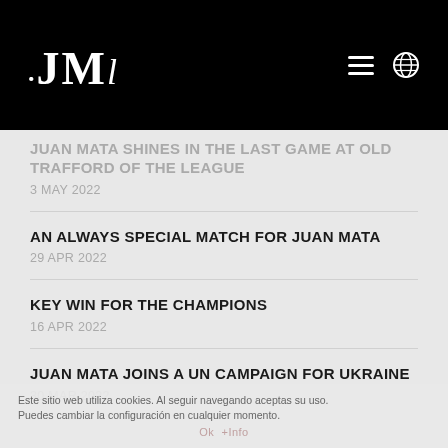.JMl
JUAN MATA SHINES IN THE LAST GAME AT OLD TRAFFORD OF THE LEAGUE
3 MAY 2022
AN ALWAYS SPECIAL MATCH FOR JUAN MATA
29 APR 2022
KEY WIN FOR THE CHAMPIONS
16 APR 2022
JUAN MATA JOINS A UN CAMPAIGN FOR UKRAINE
30 MAR 2022
Este sitio web utiliza cookies. Al seguir navegando aceptas su uso. Puedes cambiar la configuración en cualquier momento.
Ok  +Info